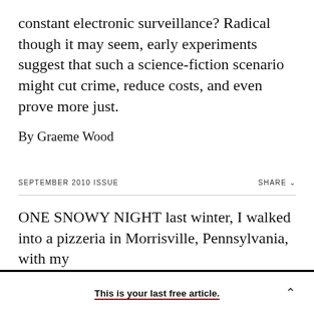constant electronic surveillance? Radical though it may seem, early experiments suggest that such a science-fiction scenario might cut crime, reduce costs, and even prove more just.
By Graeme Wood
SEPTEMBER 2010 ISSUE
ONE SNOWY NIGHT last winter, I walked into a pizzeria in Morrisville, Pennsylvania, with my
This is your last free article.